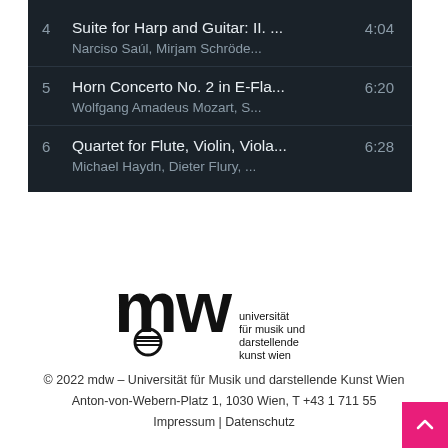4  Suite for Harp and Guitar: II. ...  4:04
Narciso Saúl, Mirjam Schröde...
5  Horn Concerto No. 2 in E-Fla...  6:20
Wolfgang Amadeus Mozart, S...
6  Quartet for Flute, Violin, Viola...  6:28
Michael Haydn, Dieter Flury, ...
[Figure (logo): mdw – Universität für Musik und darstellende Kunst Wien logo]
© 2022 mdw – Universität für Musik und darstellende Kunst Wien
Anton-von-Webern-Platz 1, 1030 Wien, T +43 1 711 55
Impressum | Datenschutz